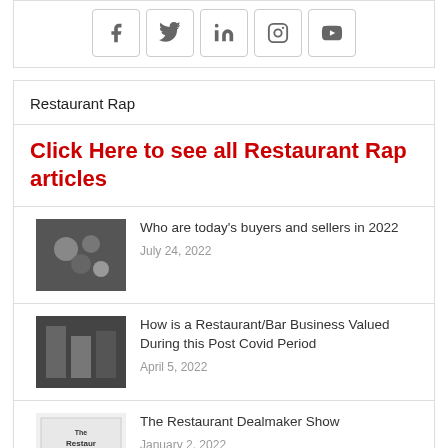[Figure (other): Social media icons row: Facebook, Twitter, LinkedIn, Instagram, YouTube]
Restaurant Rap
Click Here to see all Restaurant Rap articles
Who are today's buyers and sellers in 2022 — July 24, 2022
How is a Restaurant/Bar Business Valued During this Post Covid Period — April 5, 2022
The Restaurant Dealmaker Show — January 2, 2022